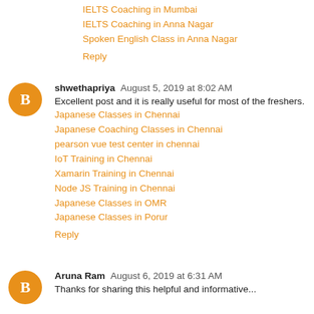IELTS Coaching in Mumbai
IELTS Coaching in Anna Nagar
Spoken English Class in Anna Nagar
Reply
shwethapriya  August 5, 2019 at 8:02 AM
Excellent post and it is really useful for most of the freshers.
Japanese Classes in Chennai
Japanese Coaching Classes in Chennai
pearson vue test center in chennai
IoT Training in Chennai
Xamarin Training in Chennai
Node JS Training in Chennai
Japanese Classes in OMR
Japanese Classes in Porur
Reply
Aruna Ram  August 6, 2019 at 6:31 AM
Thanks for sharing this helpful and informative...